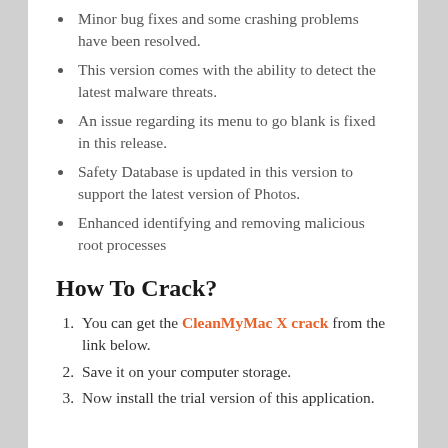Minor bug fixes and some crashing problems have been resolved.
This version comes with the ability to detect the latest malware threats.
An issue regarding its menu to go blank is fixed in this release.
Safety Database is updated in this version to support the latest version of Photos.
Enhanced identifying and removing malicious root processes
How To Crack?
You can get the CleanMyMac X crack from the link below.
Save it on your computer storage.
Now install the trial version of this application.